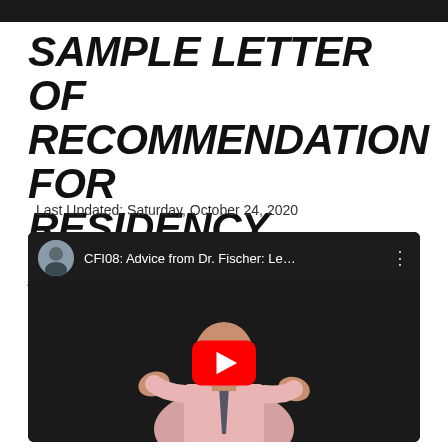SAMPLE LETTER OF RECOMMENDATION FOR RESIDENCY APPLICATION
Last Updated: Saturday, October 24, 2020
[Figure (screenshot): YouTube video thumbnail showing CFI08: Advice from Dr. Fischer: Le... with a bald man in a pink shirt gesturing with hands, dark background, red YouTube play button overlay]